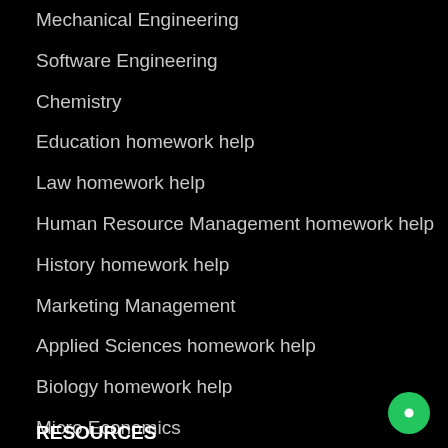Mechanical Engineering
Software Engineering
Chemistry
Education homework help
Law homework help
Human Resource Management homework help
History homework help
Marketing Management
Applied Sciences homework help
Biology homework help
Micro Economics
Advanced Mathematics
Mathematics homework help
RESOURCES